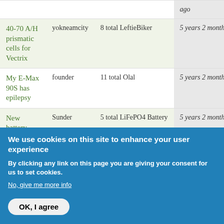| Topic | Author | Replies | Date |
| --- | --- | --- | --- |
|  |  |  | ago |
| 40-70 A/H prismatic cells for Vectrix | yokneamcity | 8 total LeftieBiker | 5 years 2 months ago |
| My E-Max 90S has epilepsy | founder | 11 total Olal | 5 years 2 months ago |
| New battery dimensions too close? | Sunder | 5 total LiFePO4 Battery | 5 years 2 months ago |
| Electric |  |  |  |
We use cookies on this site to enhance your user experience
By clicking any link on this page you are giving your consent for us to set cookies.
No, give me more info
OK, I agree